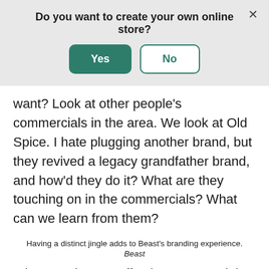Do you want to create your own online store?
[Figure (screenshot): Modal dialog with Yes (green filled button) and No (green outlined button) options, and an X close button in the top right corner.]
want? Look at other people's commercials in the area. We look at Old Spice. I hate plugging another brand, but they revived a legacy grandfather brand, and how'd they do it? What are they touching on in the commercials? What can we learn from them?
Having a distinct jingle adds to Beast's branding experience.
Beast
A lot goes into an effective commercial. For